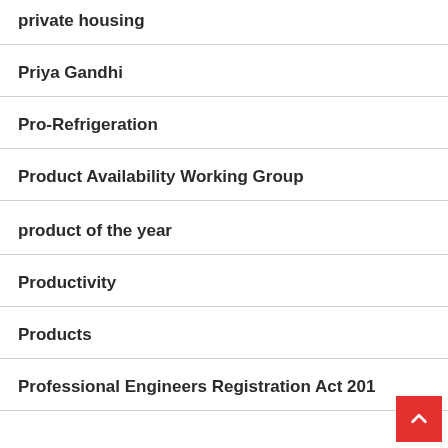private housing
Priya Gandhi
Pro-Refrigeration
Product Availability Working Group
product of the year
Productivity
Products
Professional Engineers Registration Act 201